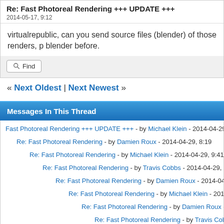Re: Fast Photoreal Rendering +++ UPDATE +++
2014-05-17, 9:12
virtualrepublic, can you send source files (blender) of those renders, p blender before.
Find
« Next Oldest | Next Newest »
Messages In This Thread
Fast Photoreal Rendering +++ UPDATE +++ - by Michael Klein - 2014-04-29, 2:3
Re: Fast Photoreal Rendering - by Damien Roux - 2014-04-29, 8:19
Re: Fast Photoreal Rendering - by Michael Klein - 2014-04-29, 9:41
Re: Fast Photoreal Rendering - by Travis Cobbs - 2014-04-29, 16:30
Re: Fast Photoreal Rendering - by Damien Roux - 2014-04-29, 18:34
Re: Fast Photoreal Rendering - by Michael Klein - 2014-04-29, 20:00
Re: Fast Photoreal Rendering - by Damien Roux - 2014-05-01, 1:0
Re: Fast Photoreal Rendering - by Travis Cobbs - 2014-05-01, 2
Re: Fast Photoreal Rendering - by Damien Roux - 2014-05-0